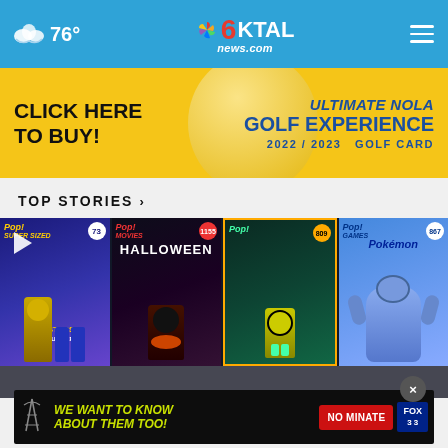76° KTAL 6 news.com
[Figure (screenshot): Gold advertisement banner: CLICK HERE TO BUY! ULTIMATE NOLA Golf Experience 2022/2023 GOLF CARD]
TOP STORIES ›
[Figure (screenshot): Video thumbnail showing Funko Pop collectible figures including Masters of the Universe #73, Halloween Michael Myers #1155, Nightmare Before Christmas #809, and Pokemon #867 boxes displayed on a shelf]
[Figure (screenshot): Overlay advertisement: WE WANT TO KNOW ABOUT THEM TOO! with NOMINATE button and FOX logo]